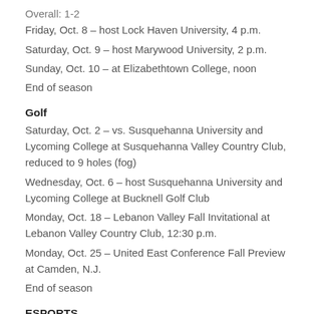Overall: 1-2
Friday, Oct. 8 – host Lock Haven University, 4 p.m.
Saturday, Oct. 9 – host Marywood University, 2 p.m.
Sunday, Oct. 10 – at Elizabethtown College, noon
End of season
Golf
Saturday, Oct. 2 – vs. Susquehanna University and Lycoming College at Susquehanna Valley Country Club, reduced to 9 holes (fog)
Wednesday, Oct. 6 – host Susquehanna University and Lycoming College at Bucknell Golf Club
Monday, Oct. 18 – Lebanon Valley Fall Invitational at Lebanon Valley Country Club, 12:30 p.m.
Monday, Oct. 25 – United East Conference Fall Preview at Camden, N.J.
End of season
ESPORTS
Overwatch